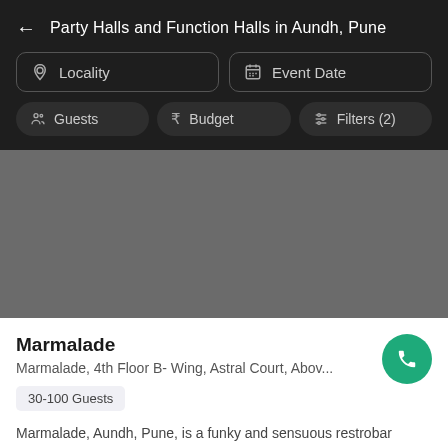Party Halls and Function Halls in Aundh, Pune
Locality
Event Date
Guests
Budget
Filters (2)
[Figure (photo): Gray placeholder image for venue listing]
Marmalade
Marmalade, 4th Floor B- Wing, Astral Court, Abov...
30-100 Guests
Marmalade, Aundh, Pune, is a funky and sensuous restrobar nestled amidst the vibrant...Read more